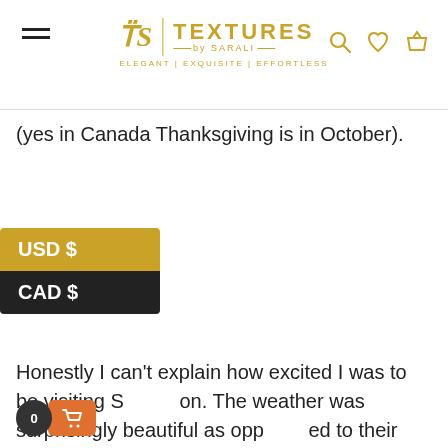TEXTURES by SARALI — ELEGANT | EXQUISITE | EFFORTLESS
(yes in Canada Thanksgiving is in October).
USD $
CAD $
Honestly I can't explain how excited I was to be visiting S___on. The weather was surprisingly beautiful as opp___ed to their traditional super cold and dry weather. It